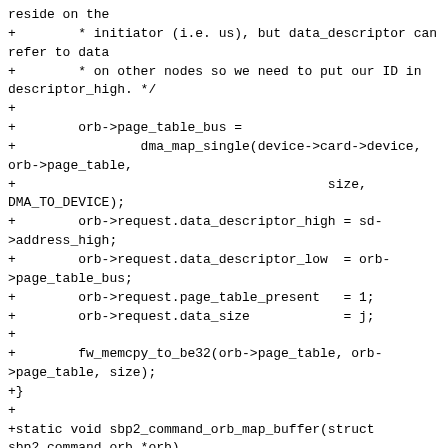reside on the
+        * initiator (i.e. us), but data_descriptor can refer to data
+        * on other nodes so we need to put our ID in descriptor_high. */
+
+        orb->page_table_bus =
+                dma_map_single(device->card->device, orb->page_table,
+                                        size, DMA_TO_DEVICE);
+        orb->request.data_descriptor_high = sd->address_high;
+        orb->request.data_descriptor_low  = orb->page_table_bus;
+        orb->request.page_table_present   = 1;
+        orb->request.data_size            = j;
+
+        fw_memcpy_to_be32(orb->page_table, orb->page_table, size);
+}
+
+static void sbp2_command_orb_map_buffer(struct sbp2_command_orb *orb)
+{
+        struct fw_unit *unit =
+                (struct fw_unit *)orb->cmd->device->host->hostdata[0];
+        struct fw_device *device = fw_device(unit->device.parent);
+        struct sbp2 device *sd = unit-